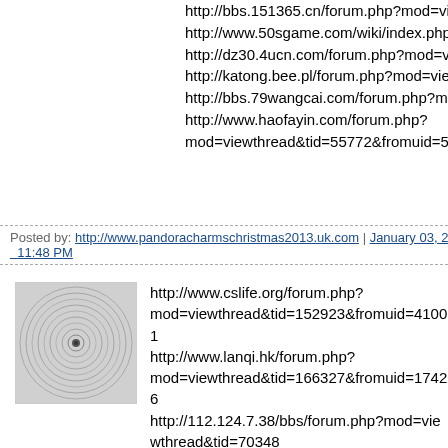http://bbs.151365.cn/forum.php?mod=viewthread&tid=1524149
http://www.50sgame.com/wiki/index.php/User:Pslx5eut#nike_sh
http://dz30.4ucn.com/forum.php?mod=viewthread&tid=73428
http://katong.bee.pl/forum.php?mod=viewthread&tid=427273
http://bbs.79wangcai.com/forum.php?mod=viewthread&tid=9617
http://www.haofayin.com/forum.php?mod=viewthread&tid=55772&fromuid=5785
Posted by: http://www.pandoracharmschristmas2013.uk.com | January 03, 2014 11:48 PM
[Figure (photo): User avatar thumbnail showing a circular spiral pattern on grey background]
http://www.cslife.org/forum.php?mod=viewthread&tid=152923&fromuid=41001
http://www.lanqi.hk/forum.php?mod=viewthread&tid=166327&fromuid=17426
http://112.124.7.38/bbs/forum.php?mod=viewthread&tid=70348
http://bbs.chinesehu.com/thread-11078601-1-1.html
http://changshulol.com/forum.php?mod=viewthread&tid=145923
http://www.titifish.com/thread-37992-1-1.html
http://xlcghb.dx8.topnic.net/bbs/forum.php?mod=viewthread&tid=694489 http://www.51nitian.com/thread-11-1-1.html http://h.znovels.com/space.php?uid=275240&do=blog&id=1581792
http://www.588baijiale.com/forum.php?mod=viewthread&tid=20